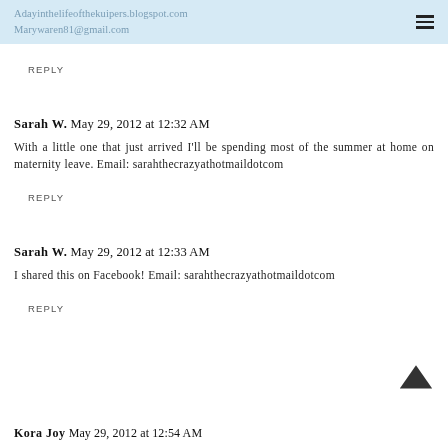Adayinthelifeofthekuipers.blogspot.com
Marywaren81@gmail.com
REPLY
Sarah W. May 29, 2012 at 12:32 AM
With a little one that just arrived I'll be spending most of the summer at home on maternity leave. Email: sarahthecrazyathotmaildotcom
REPLY
Sarah W. May 29, 2012 at 12:33 AM
I shared this on Facebook! Email: sarahthecrazyathotmaildotcom
REPLY
Kora Joy May 29, 2012 at 12:54 AM